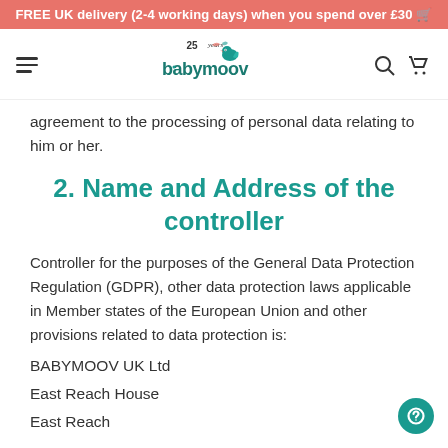FREE UK delivery (2-4 working days) when you spend over £30
[Figure (logo): Babymoov 25 years logo with cartoon bird]
agreement to the processing of personal data relating to him or her.
2. Name and Address of the controller
Controller for the purposes of the General Data Protection Regulation (GDPR), other data protection laws applicable in Member states of the European Union and other provisions related to data protection is:
BABYMOOV UK Ltd
East Reach House
East Reach